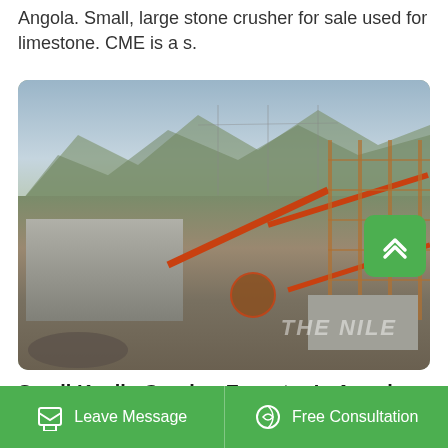Angola. Small, large stone crusher for sale used for limestone. CME is a s.
[Figure (photo): Aerial view of a large stone crushing plant with orange conveyor belts, concrete foundation blocks, scaffolding structures, and industrial equipment set against a mountainous landscape. Watermark text 'THE NILE' visible on the image.]
Small Kaolin Crusher Exporter In Angola
Leave Message
Free Consultation